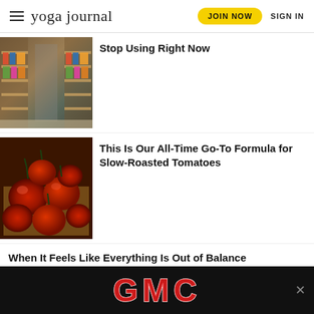yoga journal | JOIN NOW  SIGN IN
Stop Using Right Now
This Is Our All-Time Go-To Formula for Slow-Roasted Tomatoes
When It Feels Like Everything Is Out of Balance
[Figure (logo): GMC logo advertisement banner at bottom of page]